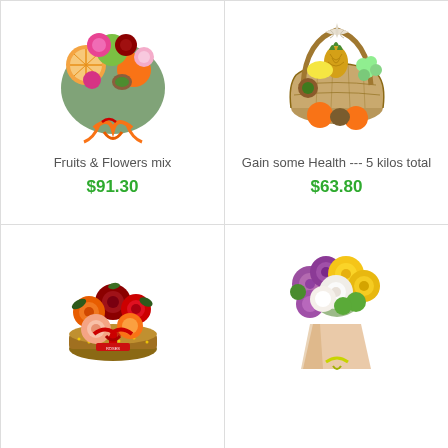[Figure (photo): Colorful bouquet of mixed flowers and fruits including roses, grapefruit, oranges, kiwi, with orange ribbon]
Fruits & Flowers mix
$91.30
[Figure (photo): Wicker basket filled with assorted fruits including pineapple, grapes, lemons, oranges, kiwi, with white bow]
Gain some Health --- 5 kilos total
$63.80
[Figure (photo): Round box arrangement of red and orange roses with red ribbon]
[Figure (photo): Colorful bouquet of yellow, purple and white chrysanthemums wrapped in pink paper with yellow ribbon]